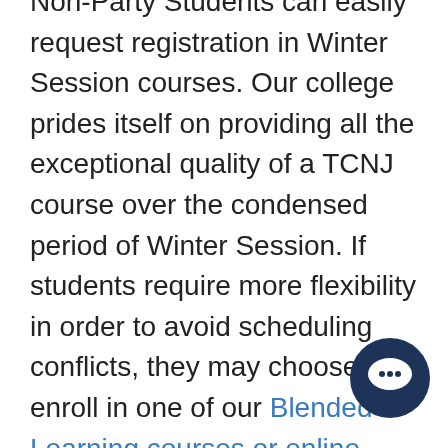Non-Party Students can easily request registration in Winter Session courses. Our college prides itself on providing all the exceptional quality of a TCNJ course over the condensed period of Winter Session. If students require more flexibility in order to avoid scheduling conflicts, they may choose to enroll in one of our Blended Learning courses or online courses. Blended Learning gives students considerably more freedom in their schedule by combining online assignments with on campus course time.
[Figure (illustration): Dark navy blue circular chat/messaging bubble icon with a speech bubble symbol in white]